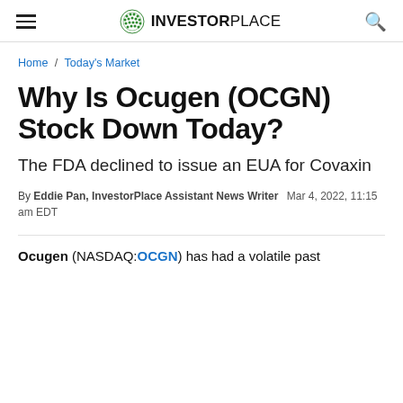INVESTORPLACE
Home / Today's Market
Why Is Ocugen (OCGN) Stock Down Today?
The FDA declined to issue an EUA for Covaxin
By Eddie Pan, InvestorPlace Assistant News Writer  Mar 4, 2022, 11:15 am EDT
Ocugen (NASDAQ:OCGN) has had a volatile past